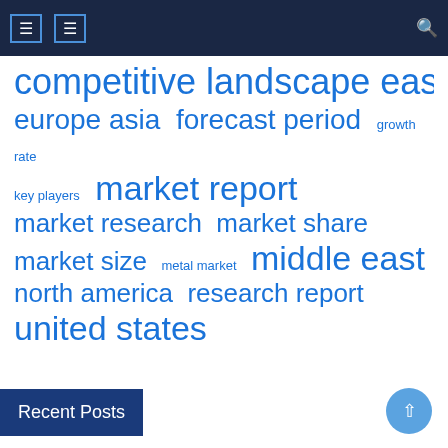[Figure (other): Tag cloud with market research related terms in varying font sizes, all in blue: competitive landscape, east africa, europe asia, forecast period, growth rate, key players, market report, market research, market share, market size, metal market, middle east, north america, research report, united states]
Recent Posts